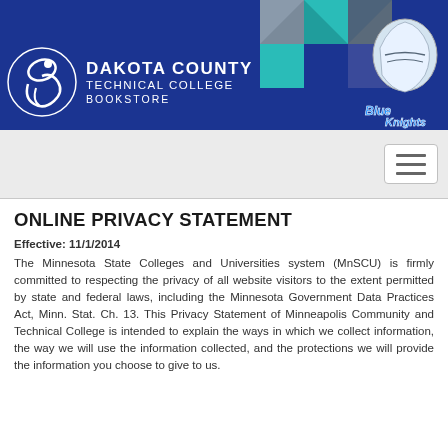Item Count: 0  Sub-Total: $0.00  Login
[Figure (logo): Dakota County Technical College Bookstore logo with Blue Knights mascot banner]
[Figure (other): Hamburger/toggle navigation button]
ONLINE PRIVACY STATEMENT
Effective: 11/1/2014
The Minnesota State Colleges and Universities system (MnSCU) is firmly committed to respecting the privacy of all website visitors to the extent permitted by state and federal laws, including the Minnesota Government Data Practices Act, Minn. Stat. Ch. 13. This Privacy Statement of Minneapolis Community and Technical College is intended to explain the ways in which we collect information, the way we will use the information collected, and the protections we will provide the information you choose to give to us.